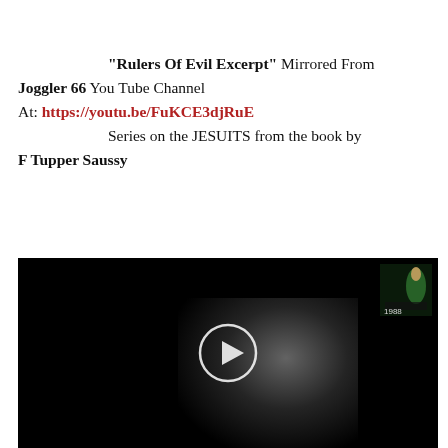"Rulers Of Evil Excerpt" Mirrored From Joggler 66 You Tube Channel At: https://youtu.be/FuKCE3djRuE Series on the JESUITS from the book by F Tupper Saussy
[Figure (screenshot): Dark video thumbnail showing a smoke/explosion effect in the center-right area and a figure with a green costume in the top-right corner, with a circular play button overlay in the center]